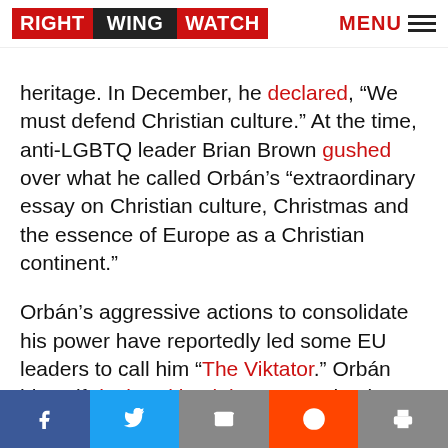RIGHT WING WATCH  MENU
heritage. In December, he declared, “We must defend Christian culture.” At the time, anti-LGBTQ leader Brian Brown gushed over what he called Orbán’s “extraordinary essay on Christian culture, Christmas and the essence of Europe as a Christian continent.”
Orbán’s aggressive actions to consolidate his power have reportedly led some EU leaders to call him “The Viktator.” Orbán himself declared back in 2014, ‘‘Checks and balances’ is a U.S. invention that for some reason of intellectual mediocrity Europe decided to adopt and use in European politics.” In 2015, author Colin Ward has observed...
Facebook Twitter Email Reddit Print